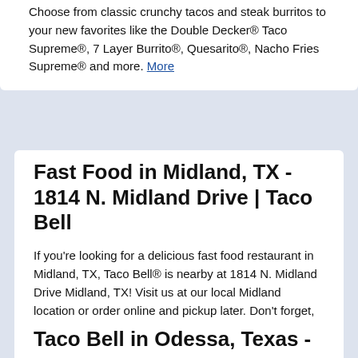Choose from classic crunchy tacos and steak burritos to your new favorites like the Double Decker® Taco Supreme®, 7 Layer Burrito®, Quesarito®, Nacho Fries Supreme® and more. More
Fast Food in Midland, TX - 1814 N. Midland Drive | Taco Bell
If you're looking for a delicious fast food restaurant in Midland, TX, Taco Bell® is nearby at 1814 N. Midland Drive Midland, TX! Visit us at our local Midland location or order online and pickup later. Don't forget, many of our restaurants open bright and early so come on over for a quick and delicious fast food breakfast! More
Taco Bell in Odessa, Texas -